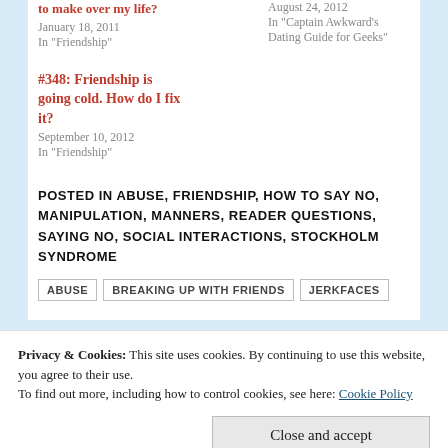to make over my life?
January 18, 2011
In "Friendship"
August 24, 2012
In "Captain Awkward's Dating Guide for Geeks"
#348: Friendship is going cold. How do I fix it?
September 10, 2012
In "Friendship"
POSTED IN ABUSE, FRIENDSHIP, HOW TO SAY NO, MANIPULATION, MANNERS, READER QUESTIONS, SAYING NO, SOCIAL INTERACTIONS, STOCKHOLM SYNDROME
ABUSE   BREAKING UP WITH FRIENDS   JERKFACES
Privacy & Cookies: This site uses cookies. By continuing to use this website, you agree to their use.
To find out more, including how to control cookies, see here: Cookie Policy
Close and accept
PREVIOUS   NEXT